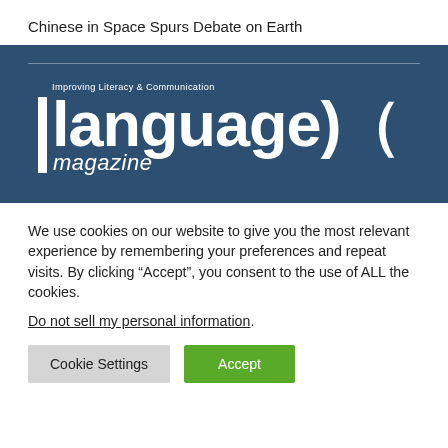Chinese in Space Spurs Debate on Earth
[Figure (logo): Language Magazine logo on dark blue background. Tagline: Improving Literacy & Communication. Large white bold sans-serif text 'language)(' with 'magazine' in italic below. Vertical white bar to left of wordmark. Horizontal light rule near top of banner.]
We use cookies on our website to give you the most relevant experience by remembering your preferences and repeat visits. By clicking “Accept”, you consent to the use of ALL the cookies.
Do not sell my personal information.
Cookie Settings   Accept